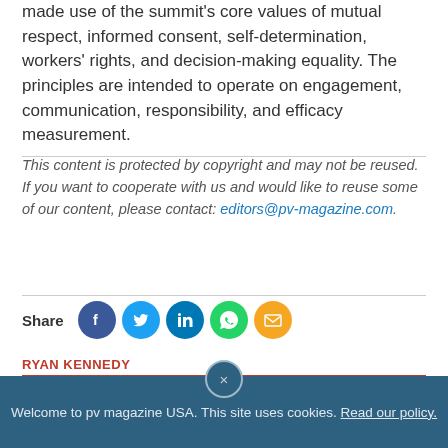made use of the summit's core values of mutual respect, informed consent, self-determination, workers' rights, and decision-making equality. The principles are intended to operate on engagement, communication, responsibility, and efficacy measurement.
This content is protected by copyright and may not be reused. If you want to cooperate with us and would like to reuse some of our content, please contact: editors@pv-magazine.com.
[Figure (infographic): Share icons row: Share label followed by circular social media buttons for Facebook (blue), Twitter (light blue), LinkedIn (dark blue), WhatsApp (green), and Email (orange)]
RYAN KENNEDY
Welcome to pv magazine USA. This site uses cookies. Read our policy.